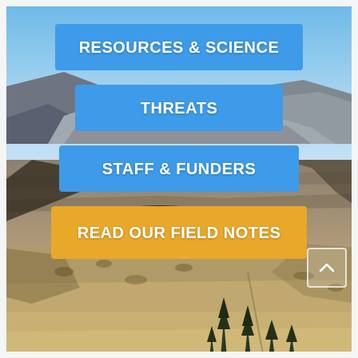[Figure (photo): Aerial/elevated landscape photograph of a volcanic or desert mountain terrain with rocky slopes, sparse scrub vegetation, dark lava flows in the midground, and conifer trees in the lower foreground. Clear blue sky above.]
RESOURCES & SCIENCE
THREATS
STAFF & FUNDERS
READ OUR FIELD NOTES